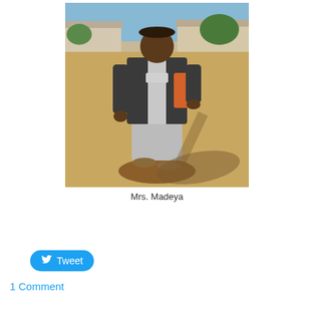[Figure (photo): A woman named Mrs. Madeya standing outdoors on dry grass/dirt ground with a building in the background. She is wearing a patterned dress, dark jacket, and carrying an orange bag. Her shadow is visible on the ground.]
Mrs. Madeya
Tweet
1 Comment